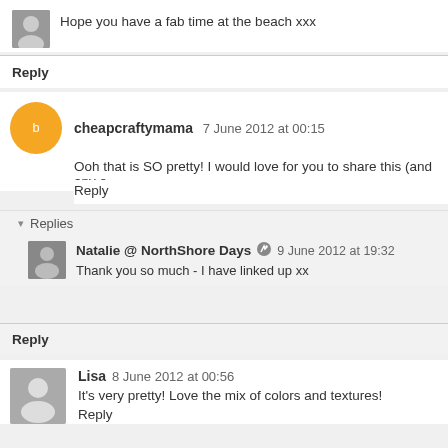Hope you have a fab time at the beach xxx
Reply
cheapcraftymama  7 June 2012 at 00:15
Ooh that is SO pretty! I would love for you to share this (and any o
Reply
Replies
Natalie @ NorthShore Days  9 June 2012 at 19:32
Thank you so much - I have linked up xx
Reply
Lisa  8 June 2012 at 00:56
It's very pretty! Love the mix of colors and textures!
Reply